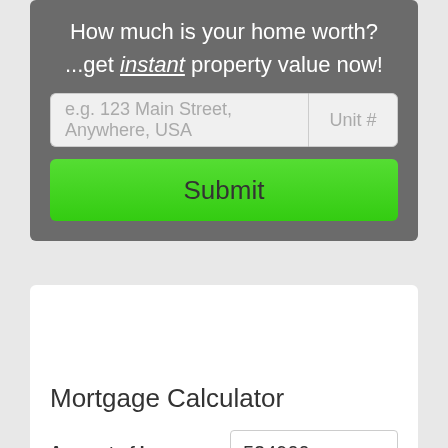How much is your home worth?
...get instant property value now!
[Figure (screenshot): Address input field with placeholder text 'e.g. 123 Main Street, Anywhere, USA' and a Unit # field]
Submit
Mortgage Calculator
Amount of Loan   524900